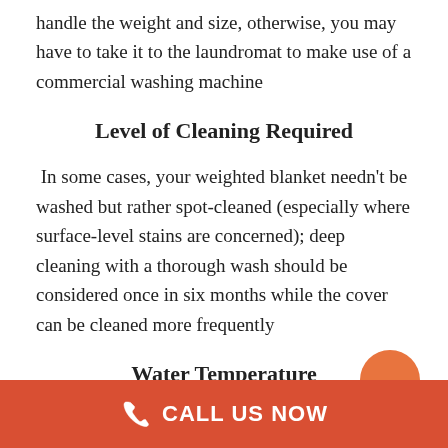handle the weight and size, otherwise, you may have to take it to the laundromat to make use of a commercial washing machine
Level of Cleaning Required
In some cases, your weighted blanket needn't be washed but rather spot-cleaned (especially where surface-level stains are concerned); deep cleaning with a thorough wash should be considered once in six months while the cover can be cleaned more frequently
Water Temperature
Many types of fill in weighted blankets, as well as fabrics, cannot handle high heat; therefore, you should always use
CALL US NOW